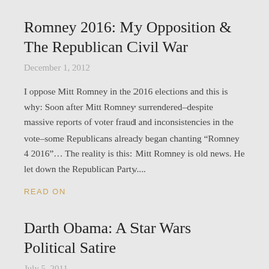Romney 2016: My Opposition & The Republican Civil War
December 1, 2012
I oppose Mitt Romney in the 2016 elections and this is why: Soon after Mitt Romney surrendered–despite massive reports of voter fraud and inconsistencies in the vote–some Republicans already began chanting “Romney 4 2016”… The reality is this: Mitt Romney is old news. He let down the Republican Party....
READ ON
Darth Obama: A Star Wars Political Satire
July 5, 2011